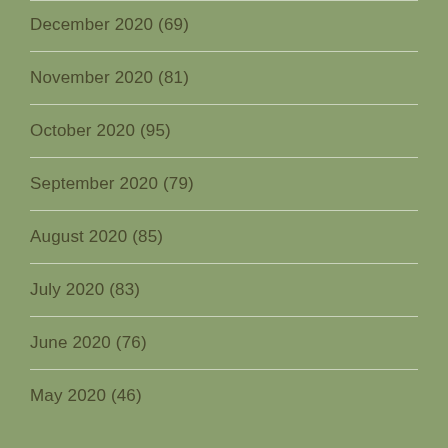December 2020 (69)
November 2020 (81)
October 2020 (95)
September 2020 (79)
August 2020 (85)
July 2020 (83)
June 2020 (76)
May 2020 (46)